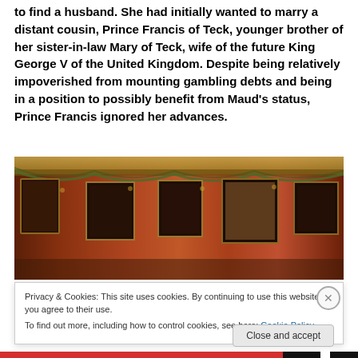to find a husband. She had initially wanted to marry a distant cousin, Prince Francis of Teck, younger brother of her sister-in-law Mary of Teck, wife of the future King George V of the United Kingdom. Despite being relatively impoverished from mounting gambling debts and being in a position to possibly benefit from Maud's status, Prince Francis ignored her advances.
[Figure (photo): A interior photograph of an ornate room with red walls, framed paintings, and decorative garlands hanging across the top.]
Privacy & Cookies: This site uses cookies. By continuing to use this website, you agree to their use.
To find out more, including how to control cookies, see here: Cookie Policy